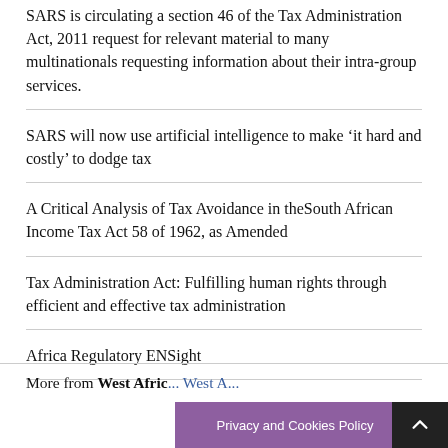SARS is circulating a section 46 of the Tax Administration Act, 2011 request for relevant material to many multinationals requesting information about their intra-group services.
SARS will now use artificial intelligence to make ‘it hard and costly’ to dodge tax
A Critical Analysis of Tax Avoidance in theSouth African Income Tax Act 58 of 1962, as Amended
Tax Administration Act: Fulfilling human rights through efficient and effective tax administration
Africa Regulatory ENSight
More from West Africa ... West A...
Privacy and Cookies Policy